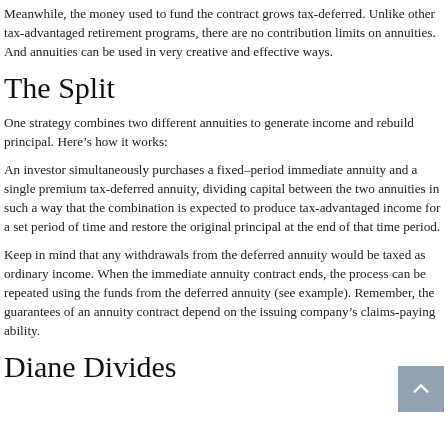Meanwhile, the money used to fund the contract grows tax-deferred. Unlike other tax-advantaged retirement programs, there are no contribution limits on annuities. And annuities can be used in very creative and effective ways.
The Split
One strategy combines two different annuities to generate income and rebuild principal. Here's how it works:
An investor simultaneously purchases a fixed-period immediate annuity and a single premium tax-deferred annuity, dividing capital between the two annuities in such a way that the combination is expected to produce tax-advantaged income for a set period of time and restore the original principal at the end of that time period.
Keep in mind that any withdrawals from the deferred annuity would be taxed as ordinary income. When the immediate annuity contract ends, the process can be repeated using the funds from the deferred annuity (see example). Remember, the guarantees of an annuity contract depend on the issuing company's claims-paying ability.
Diane Divides